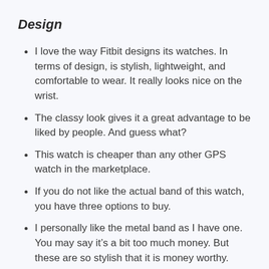Design
I love the way Fitbit designs its watches. In terms of design, is stylish, lightweight, and comfortable to wear. It really looks nice on the wrist.
The classy look gives it a great advantage to be liked by people. And guess what?
This watch is cheaper than any other GPS watch in the marketplace.
If you do not like the actual band of this watch, you have three options to buy.
I personally like the metal band as I have one. You may say it’s a bit too much money. But these are so stylish that it is money worthy.
The sports bands are really soft, textured with